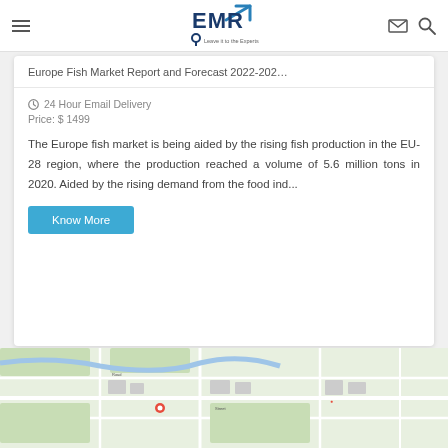EMR – Leave it to the Experts
Europe Fish Market Report and Forecast 2022-2027
24 Hour Email Delivery
Price: $ 1499
The Europe fish market is being aided by the rising fish production in the EU-28 region, where the production reached a volume of 5.6 million tons in 2020. Aided by the rising demand from the food ind...
Know More
[Figure (map): Google Maps view of a city area showing streets, parks, and landmarks]